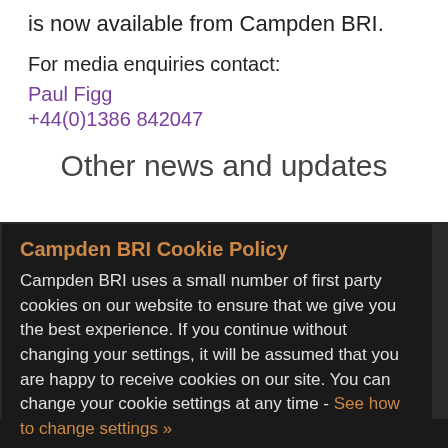is now available from Campden BRI.
For media enquiries contact:
Paul Figg
+44(0)1386 842047
Other news and updates
Campden BRI Cookie Policy
Campden BRI uses a small number of first party cookies on our website to ensure that we give you the best experience. If you continue without changing your settings, it will be assumed that you are happy to receive cookies on our site. You can change your cookie settings at any time - See how to change settings »
Accept